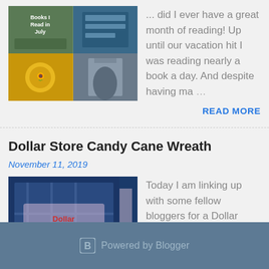[Figure (photo): Collage of book cover images for a July reading post]
... did I ever have a great month of reading! Up until our vacation hit I was reading nearly a book a day. And despite having ma …
READ MORE
Dollar Store Candy Cane Wreath
November 11, 2019
[Figure (photo): Image of a Dollar Store Candy Cane Wreath craft project with pink candy canes and text overlay]
Today I am linking up with some fellow bloggers for a Dollar Store craft challenge.  I don't often participate in these challenges …
READ MORE
Powered by Blogger